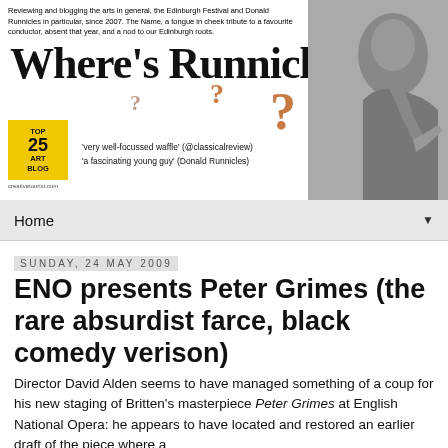[Figure (illustration): Blog header banner for 'Where's Runnicles?' with the blog title in large serif font, decorative question marks in brown/orange, a black-and-white photo of a conductor on the right, and a TOP 25 ART BLOG badge on the left. Taglines read: 'very well-focussed waffle' (@classicalreview) and 'a fascinating young guy' (Donald Runnicles).]
Home
Sunday, 24 May 2009
ENO presents Peter Grimes (the rare absurdist farce, black comedy verison)
Director David Alden seems to have managed something of a coup for his new staging of Britten's masterpiece Peter Grimes at English National Opera: he appears to have located and restored an earlier draft of the piece where a